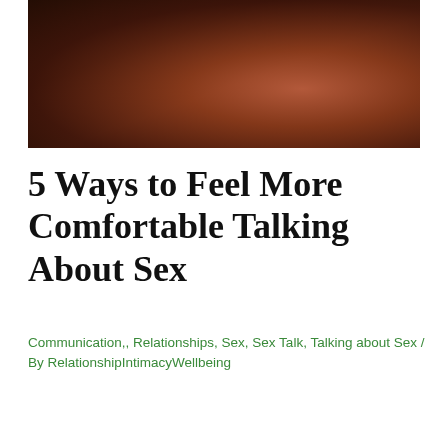[Figure (photo): Dark intimate photograph of two people, warm reddish-brown tones, close-up]
5 Ways to Feel More Comfortable Talking About Sex
Communication,, Relationships, Sex, Sex Talk, Talking about Sex / By RelationshipIntimacyWellbeing
Do you feel comfortable talking about sex?
Being a sexual person in the United States can be a rollercoaster. On the one hand, we have magazines like Cosmo